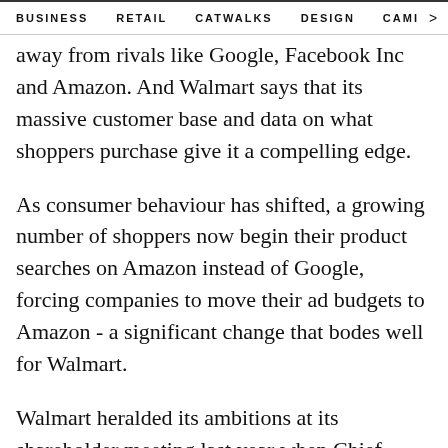BUSINESS   RETAIL   CATWALKS   DESIGN   CAMI  >
away from rivals like Google, Facebook Inc and Amazon. And Walmart says that its massive customer base and data on what shoppers purchase give it a compelling edge.
As consumer behaviour has shifted, a growing number of shoppers now begin their product searches on Amazon instead of Google, forcing companies to move their ad budgets to Amazon - a significant change that bodes well for Walmart.
Walmart heralded its ambitions at its shareholder meeting last year when Chief Executive Doug McMillon said, "We have a tiny ad business. ... It could be bigger." Since then, Walmart has bought its website advertising